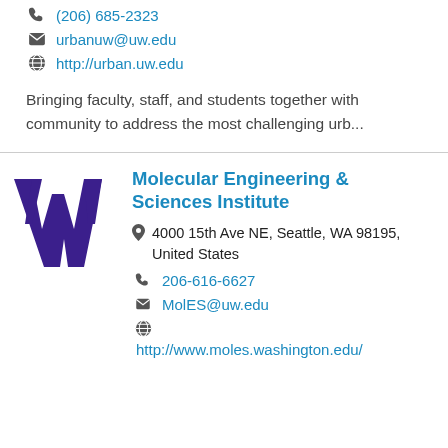(206) 685-2323
urbanuw@uw.edu
http://urban.uw.edu
Bringing faculty, staff, and students together with community to address the most challenging urb...
[Figure (logo): University of Washington purple W logo]
Molecular Engineering & Sciences Institute
4000 15th Ave NE, Seattle, WA 98195, United States
206-616-6627
MolES@uw.edu
http://www.moles.washington.edu/